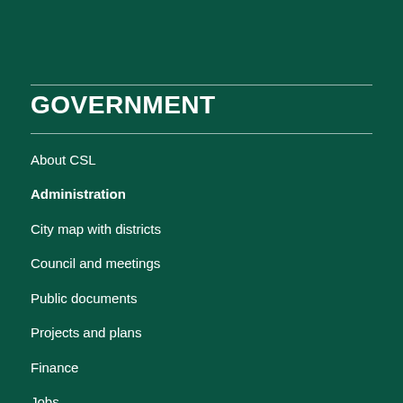GOVERNMENT
About CSL
Administration
City map with districts
Council and meetings
Public documents
Projects and plans
Finance
Jobs
Announcements